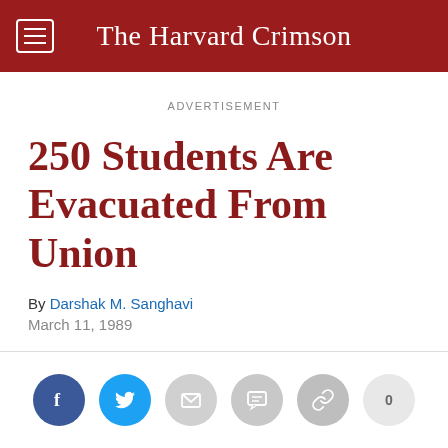The Harvard Crimson
ADVERTISEMENT
250 Students Are Evacuated From Union
By Darshak M. Sanghavi
March 11, 1989
[Figure (infographic): Social sharing buttons: Facebook (dark blue), Twitter (light blue), Email (light gray), Message (light gray), Copy link (gray), and a share count showing 0]
About 250 students were evacuated from the Freshman Union Thursday afternoon when a sprinkler system in